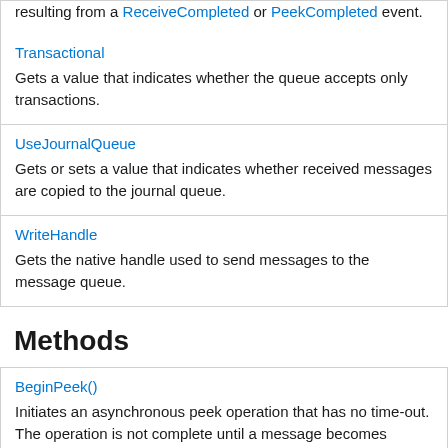resulting from a ReceiveCompleted or PeekCompleted event.
Transactional
Gets a value that indicates whether the queue accepts only transactions.
UseJournalQueue
Gets or sets a value that indicates whether received messages are copied to the journal queue.
WriteHandle
Gets the native handle used to send messages to the message queue.
Methods
BeginPeek()
Initiates an asynchronous peek operation that has no time-out. The operation is not complete until a message becomes available